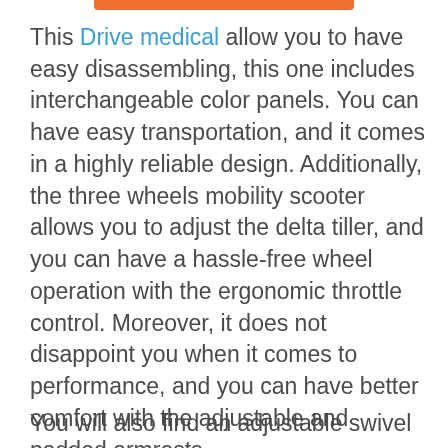This Drive medical allow you to have easy disassembling, this one includes interchangeable color panels. You can have easy transportation, and it comes in a highly reliable design. Additionally, the three wheels mobility scooter allows you to adjust the delta tiller, and you can have a hassle-free wheel operation with the ergonomic throttle control. Moreover, it does not disappoint you when it comes to performance, and you can have better comfort with the adjustable and padded armrests.
You will also find an adjustable swivel seat